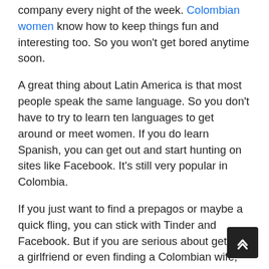company every night of the week. Colombian women know how to keep things fun and interesting too. So you won't get bored anytime soon.
A great thing about Latin America is that most people speak the same language. So you don't have to try to learn ten languages to get around or meet women. If you do learn Spanish, you can get out and start hunting on sites like Facebook. It's still very popular in Colombia.
If you just want to find a prepagos or maybe a quick fling, you can stick with Tinder and Facebook. But if you are serious about getting a girlfriend or even finding a Colombian wife, we highly recommend you throw a wide net. Check out Facebook plus any dating sites you find. It doesn't cost much and the benefits are immense.
And the...